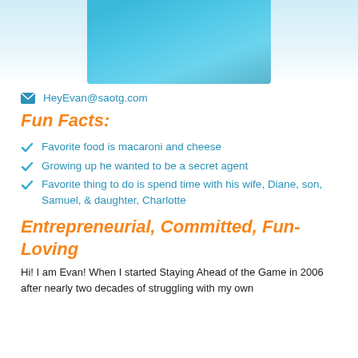[Figure (photo): Partial photo of a person wearing a teal/turquoise shirt, cropped at top]
HeyEvan@saotg.com
Fun Facts:
Favorite food is macaroni and cheese
Growing up he wanted to be a secret agent
Favorite thing to do is spend time with his wife, Diane, son, Samuel, & daughter, Charlotte
Entrepreneurial, Committed, Fun-Loving
Hi! I am Evan! When I started Staying Ahead of the Game in 2006 after nearly two decades of struggling with my own